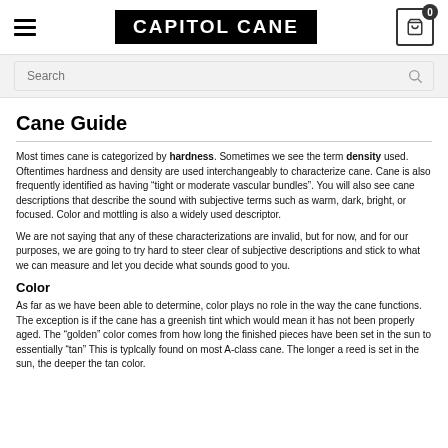CAPITOL CANE
Cane Guide
Most times cane is categorized by hardness. Sometimes we see the term density used. Oftentimes hardness and density are used interchangeably to characterize cane. Cane is also frequently identified as having “tight or moderate vascular bundles”. You will also see cane descriptions that describe the sound with subjective terms such as warm, dark, bright, or focused. Color and mottling is also a widely used descriptor.
We are not saying that any of these characterizations are invalid, but for now, and for our purposes, we are going to try hard to steer clear of subjective descriptions and stick to what we can measure and let you decide what sounds good to you.
Color
As far as we have been able to determine, color plays no role in the way the cane functions. The exception is if the cane has a greenish tint which would mean it has not been properly aged. The "golden" color comes from how long the finished pieces have been set in the sun to essentially "tan" This is typlcally found on most A-class cane. The longer a reed is set in the sun, the deeper the tan color.